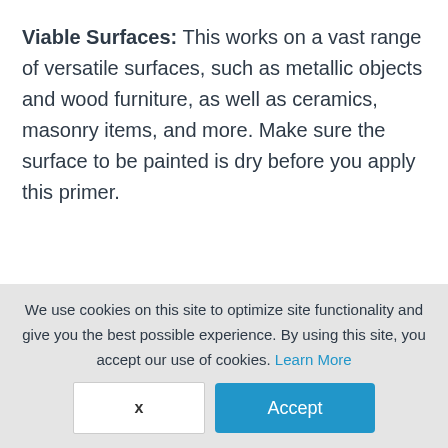Viable Surfaces: This works on a vast range of versatile surfaces, such as metallic objects and wood furniture, as well as ceramics, masonry items, and more. Make sure the surface to be painted is dry before you apply this primer.
[Figure (other): Light green banner with a green circle containing a white checkmark, partially visible at the bottom of the main content area.]
We use cookies on this site to optimize site functionality and give you the best possible experience. By using this site, you accept our use of cookies. Learn More